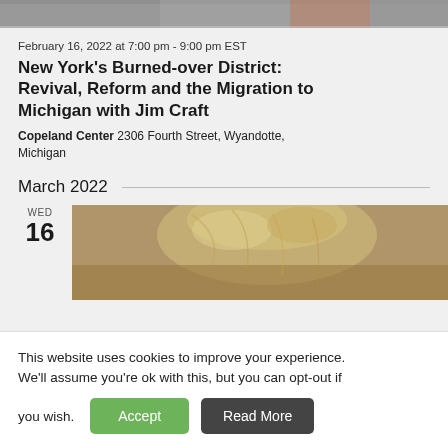[Figure (photo): Partial view of a person at the top of the page, cropped]
February 16, 2022 at 7:00 pm - 9:00 pm EST
New York's Burned-over District: Revival, Reform and the Migration to Michigan with Jim Craft
Copeland Center 2306 Fourth Street, Wyandotte, Michigan
March 2022
[Figure (photo): Partial view of a person with blonde/grey hair, cropped, associated with WED 16 event]
This website uses cookies to improve your experience. We'll assume you're ok with this, but you can opt-out if you wish.
Accept
Read More